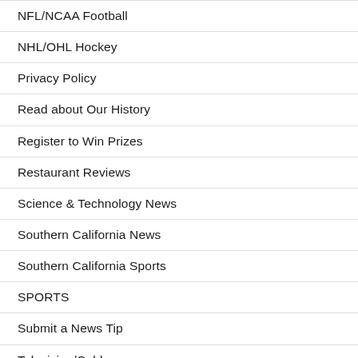NFL/NCAA Football
NHL/OHL Hockey
Privacy Policy
Read about Our History
Register to Win Prizes
Restaurant Reviews
Science & Technology News
Southern California News
Southern California Sports
SPORTS
Submit a News Tip
Television/Cable
TRIVIA
Video Game Reviews